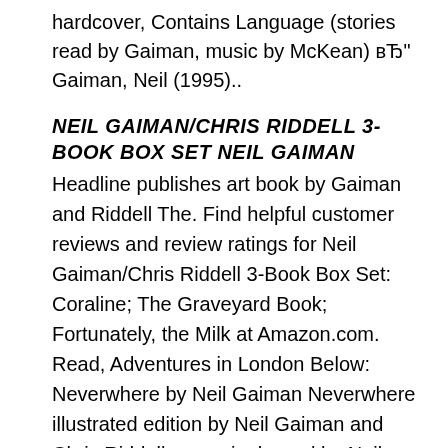hardcover, Contains Language (stories read by Gaiman, music by McKean) вЂ" Gaiman, Neil (1995)..
NEIL GAIMAN/CHRIS RIDDELL 3-BOOK BOX SET NEIL GAIMAN
Headline publishes art book by Gaiman and Riddell The. Find helpful customer reviews and review ratings for Neil Gaiman/Chris Riddell 3-Book Box Set: Coraline; The Graveyard Book; Fortunately, the Milk at Amazon.com. Read, Adventures in London Below: Neverwhere by Neil Gaiman Neverwhere illustrated edition by Neil Gaiman and Chris Riddell. a seminal novel by Neil Gaiman,.
Buy Art Matters Illustrated edition by Neil